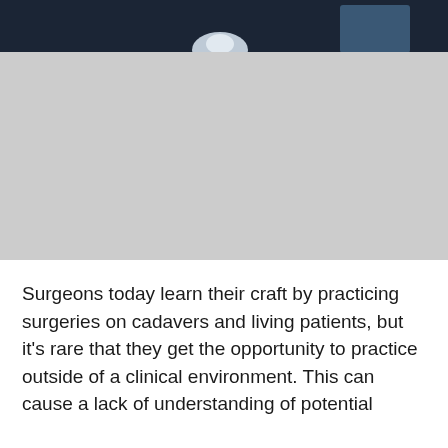[Figure (photo): Photograph of a surgical or medical setting, partially cut off. Top portion shows a dark background with a figure in blue and a white/light-colored object in center. Bottom portion is a large light gray area.]
Surgeons today learn their craft by practicing surgeries on cadavers and living patients, but it's rare that they get the opportunity to practice outside of a clinical environment. This can cause a lack of understanding of potential